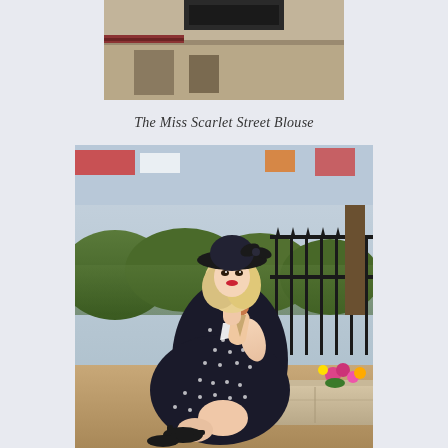[Figure (photo): Partial top photo of what appears to be a shop or venue exterior, cropped at the top of the page]
The Miss Scarlet Street Blouse
[Figure (photo): A woman with blonde hair wearing a black wide-brim hat with a bow, a black and white polka dot dress, and black strappy heels. She is seated on a stone ledge outdoors, holding an ice cream cone. Bushes, a black iron fence, and colorful flowers are in the background.]